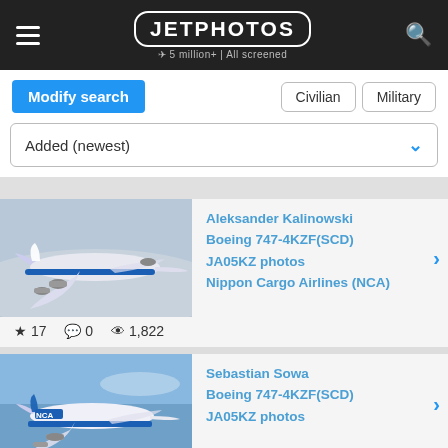JETPHOTOS – 5 million+ | All screened
Modify search | Civilian | Military
Added (newest)
[Figure (photo): Boeing 747-4KZF(SCD) of Nippon Cargo Airlines in flight, photographed by Aleksander Kalinowski]
Aleksander Kalinowski
Boeing 747-4KZF(SCD)
JA05KZ photos
Nippon Cargo Airlines (NCA)
★ 17  💬 0  👁 1,822
[Figure (photo): Boeing 747-4KZF(SCD) of Nippon Cargo Airlines (NCA) in flight, photographed by Sebastian Sowa]
Sebastian Sowa
Boeing 747-4KZF(SCD)
JA05KZ photos